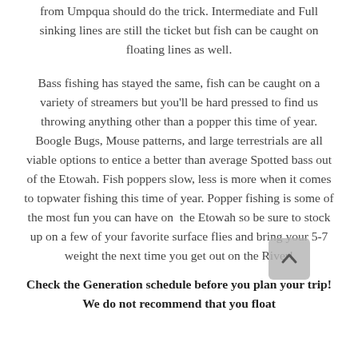from Umpqua should do the trick. Intermediate and Full sinking lines are still the ticket but fish can be caught on floating lines as well.
Bass fishing has stayed the same, fish can be caught on a variety of streamers but you'll be hard pressed to find us throwing anything other than a popper this time of year. Boogle Bugs, Mouse patterns, and large terrestrials are all viable options to entice a better than average Spotted bass out of the Etowah. Fish poppers slow, less is more when it comes to topwater fishing this time of year. Popper fishing is some of the most fun you can have on the Etowah so be sure to stock up on a few of your favorite surface flies and bring your 5-7 weight the next time you get out on the River!
Check the Generation schedule before you plan your trip! We do not recommend that you float